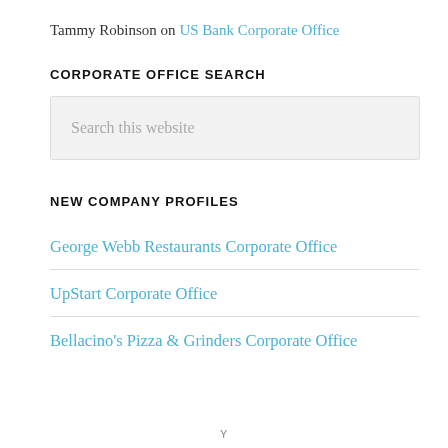Tammy Robinson on US Bank Corporate Office
CORPORATE OFFICE SEARCH
Search this website
NEW COMPANY PROFILES
George Webb Restaurants Corporate Office
UpStart Corporate Office
Bellacino's Pizza & Grinders Corporate Office
Y